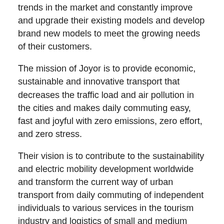trends in the market and constantly improve and upgrade their existing models and develop brand new models to meet the growing needs of their customers.
The mission of Joyor is to provide economic, sustainable and innovative transport that decreases the traffic load and air pollution in the cities and makes daily commuting easy, fast and joyful with zero emissions, zero effort, and zero stress.
Their vision is to contribute to the sustainability and electric mobility development worldwide and transform the current way of urban transport from daily commuting of independent individuals to various services in the tourism industry and logistics of small and medium businesses.
The Joyor Scooter philosophy is based on three main values: